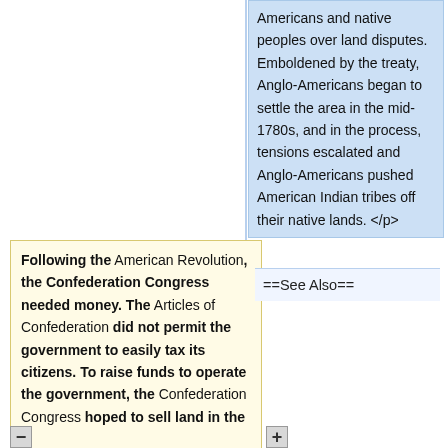Americans and native peoples over land disputes. Emboldened by the treaty, Anglo-Americans began to settle the area in the mid-1780s, and in the process, tensions escalated and Anglo-Americans pushed American Indian tribes off their native lands. </p>
Following the American Revolution, the Confederation Congress needed money. The Articles of Confederation did not permit the government to easily tax its citizens. To raise funds to operate the government, the Confederation Congress hoped to sell land in the
==See Also==